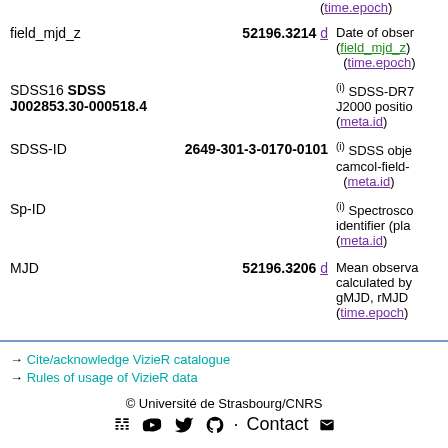(time.epoch)
field_mjd_z   52196.3214 d   Date of observation in z-band (field_mjd_z) (time.epoch)
SDSS16  SDSS J002853.30-000518.4   (i) SDSS-DR7 J2000 position (meta.id)
SDSS-ID   2649-301-3-0170-0101   (i) SDSS object id: run-camcol-field- (meta.id)
Sp-ID   (i) Spectroscopic identifier (pla (meta.id)
MJD   52196.3206 d   Mean observation date calculated by gMJD, rMJD (time.epoch)
→ Cite/acknowledge VizieR catalogue
→ Rules of usage of VizieR data
© Université de Strasbourg/CNRS  Contact